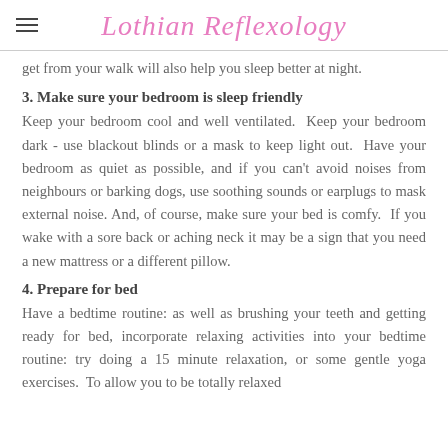Lothian Reflexology
get from your walk will also help you sleep better at night.
3. Make sure your bedroom is sleep friendly
Keep your bedroom cool and well ventilated. Keep your bedroom dark - use blackout blinds or a mask to keep light out. Have your bedroom as quiet as possible, and if you can't avoid noises from neighbours or barking dogs, use soothing sounds or earplugs to mask external noise. And, of course, make sure your bed is comfy. If you wake with a sore back or aching neck it may be a sign that you need a new mattress or a different pillow.
4. Prepare for bed
Have a bedtime routine: as well as brushing your teeth and getting ready for bed, incorporate relaxing activities into your bedtime routine: try doing a 15 minute relaxation, or some gentle yoga exercises. To allow you to be totally relaxed